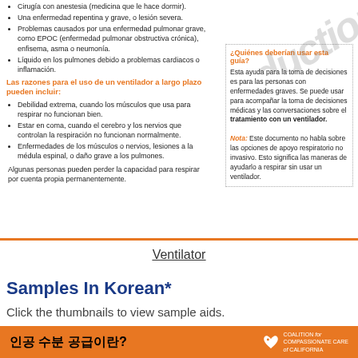Cirugía con anestesia (medicina que le hace dormir).
Una enfermedad repentina y grave, o lesión severa.
Problemas causados por una enfermedad pulmonar grave, como EPOC (enfermedad pulmonar obstructiva crónica), enfisema, asma o neumonía.
Líquido en los pulmones debido a problemas cardiacos o inflamación.
Las razones para el uso de un ventilador a largo plazo pueden incluir:
Debilidad extrema, cuando los músculos que usa para respirar no funcionan bien.
Estar en coma, cuando el cerebro y los nervios que controlan la respiración no funcionan normalmente.
Enfermedades de los músculos o nervios, lesiones a la médula espinal, o daño grave a los pulmones.
Algunas personas pueden perder la capacidad para respirar por cuenta propia permanentemente.
¿Quiénes deberían usar esta guía? Esta ayuda para la toma de decisiones es para las personas con enfermedades graves. Se puede usar para acompañar la toma de decisiones médicas y las conversaciones sobre el tratamiento con un ventilador. Nota: Este documento no habla sobre las opciones de apoyo respiratorio no invasivo. Esto significa las maneras de ayudarlo a respirar sin usar un ventilador.
Ventilator
Samples In Korean*
Click the thumbnails to view sample aids.
인공 수분 공급이란?